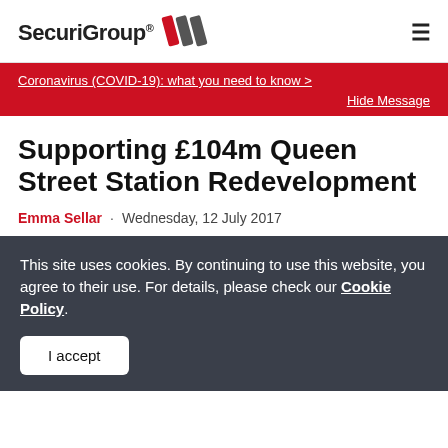SecuriGroup
Coronavirus (COVID-19): what you need to know >
Hide Message
Supporting £104m Queen Street Station Redevelopment
Emma Sellar · Wednesday, 12 July 2017
This site uses cookies. By continuing to use this website, you agree to their use. For details, please check our Cookie Policy.
I accept